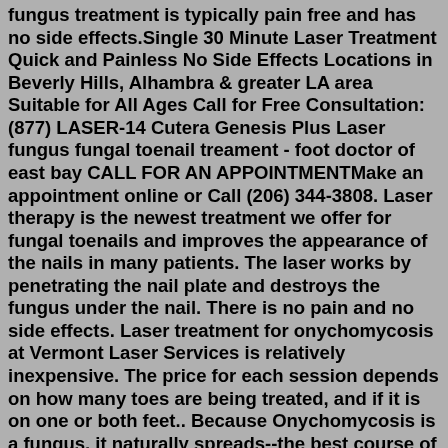fungus treatment is typically pain free and has no side effects.Single 30 Minute Laser Treatment Quick and Painless No Side Effects Locations in Beverly Hills, Alhambra & greater LA area Suitable for All Ages Call for Free Consultation: (877) LASER-14 Cutera Genesis Plus Laser fungus fungal toenail treament - foot doctor of east bay CALL FOR AN APPOINTMENTMake an appointment online or Call (206) 344-3808. Laser therapy is the newest treatment we offer for fungal toenails and improves the appearance of the nails in many patients. The laser works by penetrating the nail plate and destroys the fungus under the nail. There is no pain and no side effects. Laser treatment for onychomycosis at Vermont Laser Services is relatively inexpensive. The price for each session depends on how many toes are being treated, and if it is on one or both feet.. Because Onychomycosis is a fungus, it naturally spreads--the best course of action is to treat both feet at the same time. Single Toe/Finger - $175.00. Nov 11, 2020 · Laser toenail fungus removal uses specific wavelengths of